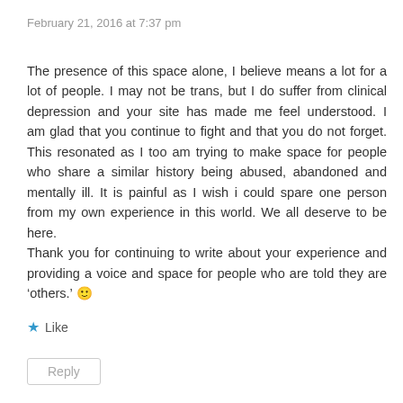February 21, 2016 at 7:37 pm
The presence of this space alone, I believe means a lot for a lot of people. I may not be trans, but I do suffer from clinical depression and your site has made me feel understood. I am glad that you continue to fight and that you do not forget. This resonated as I too am trying to make space for people who share a similar history being abused, abandoned and mentally ill. It is painful as I wish i could spare one person from my own experience in this world. We all deserve to be here.
Thank you for continuing to write about your experience and providing a voice and space for people who are told they are ‘others.’ 🙂
★ Like
Reply